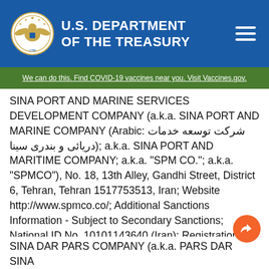U.S. DEPARTMENT OF THE TREASURY
We can do this. Find COVID-19 vaccines near you. Visit Vaccines.gov.
SINA PORT AND MARINE SERVICES DEVELOPMENT COMPANY (a.k.a. SINA PORT AND MARINE COMPANY (Arabic: شرکت توسعه خدمات دریائی و بندری سینا); a.k.a. SINA PORT AND MARITIME COMPANY; a.k.a. "SPM CO."; a.k.a. "SPMCO"), No. 18, 13th Alley, Gandhi Street, District 6, Tehran, Tehran 1517753513, Iran; Website http://www.spmco.co/; Additional Sanctions Information - Subject to Secondary Sanctions; National ID No. 10101143640 (Iran); Registration Number 69425 (Iran) [IRAN-EO13876] (Linked To: ISLAMIC REVOLUTION MOSTAZAFAN FOUNDATION)
SINA DAR PARS COMPANY (a.k.a. PARS DAR SINA...